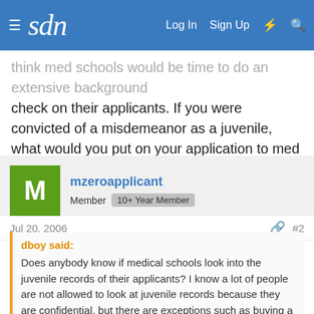sdn — Log In  Sign Up
think med schools would be time to do an extensive background check on their applicants. If you were convicted of a misdemeanor as a juvenile, what would you put on your application to med school , secondaries, or any other application that asked if you have been convicted of a crime?
mzeroapplicant — Member  10+ Year Member
Jul 20, 2006  #2
dboy said:
Does anybody know if medical schools look into the juvenile records of their applicants? I know a lot of people are not allowed to look at juvenile records because they are confidential, but there are exceptions such as buying a handgun. Seeing that doctors write prescriptions, you would think med schools would be able to do an extensive background check on their applicants. If you were convicted of a misdemeanor as a juvenile, what would you put on your application to med school , secondaries, or any other application...